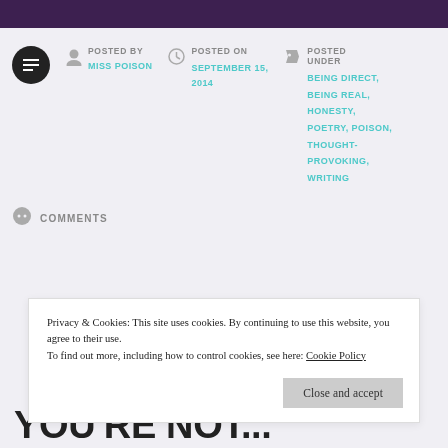POSTED BY
MISS POISON
POSTED ON
SEPTEMBER 15, 2014
POSTED UNDER
BEING DIRECT,
BEING REAL,
HONESTY,
POETRY, POISON,
THOUGHT-PROVOKING,
WRITING
COMMENTS
Privacy & Cookies: This site uses cookies. By continuing to use this website, you agree to their use.
To find out more, including how to control cookies, see here: Cookie Policy
Close and accept
YOU'RE NOT...